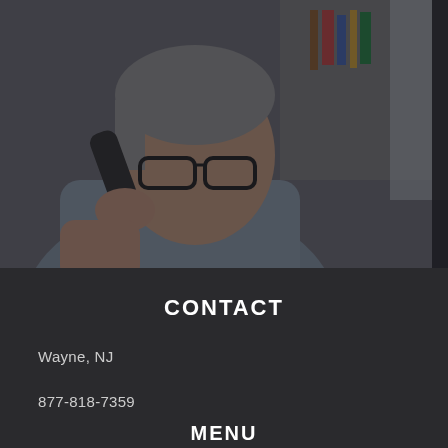[Figure (photo): A middle-aged man with grey hair and glasses talking on a phone, wearing a light blue shirt, with a blurred office/bookshelf background. Image has a dark overlay.]
CONTACT
Wayne, NJ
877-818-7359
MENU